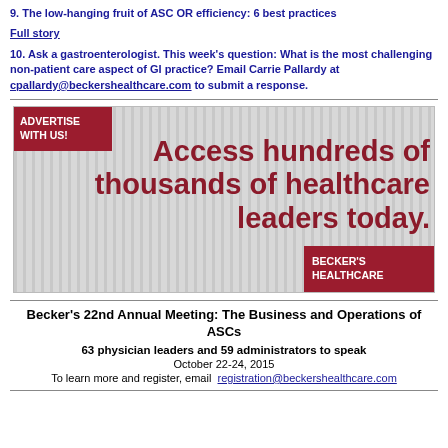9. The low-hanging fruit of ASC OR efficiency: 6 best practices
Full story
10. Ask a gastroenterologist. This week's question: What is the most challenging non-patient care aspect of GI practice? Email Carrie Pallardy at cpallardy@beckershealthcare.com to submit a response.
[Figure (infographic): Becker's Healthcare advertisement banner: 'ADVERTISE WITH US! Access hundreds of thousands of healthcare leaders today. BECKER'S HEALTHCARE']
Becker's 22nd Annual Meeting: The Business and Operations of ASCs
63 physician leaders and 59 administrators to speak
October 22-24, 2015
To learn more and register, email registration@beckershealthcare.com